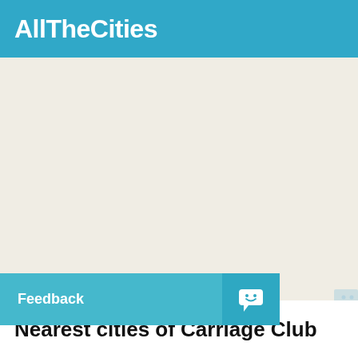AllTheCities
[Figure (map): A light beige/cream map background with dot pattern overlays on the right side and bottom-center area, representing a geographic map view for Carriage Club location.]
Feedback
Nearest cities of Carriage Club